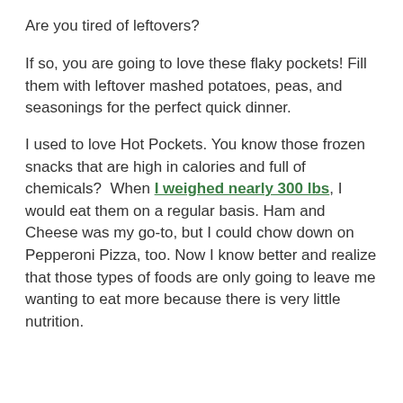Are you tired of leftovers?
If so, you are going to love these flaky pockets! Fill them with leftover mashed potatoes, peas, and seasonings for the perfect quick dinner.
I used to love Hot Pockets. You know those frozen snacks that are high in calories and full of chemicals?  When I weighed nearly 300 lbs, I would eat them on a regular basis. Ham and Cheese was my go-to, but I could chow down on Pepperoni Pizza, too. Now I know better and realize that those types of foods are only going to leave me wanting to eat more because there is very little nutrition.